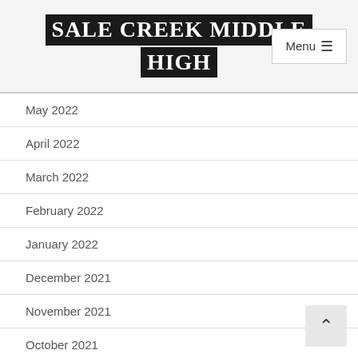SALE CREEK MIDDLE HIGH
May 2022
April 2022
March 2022
February 2022
January 2022
December 2021
November 2021
October 2021